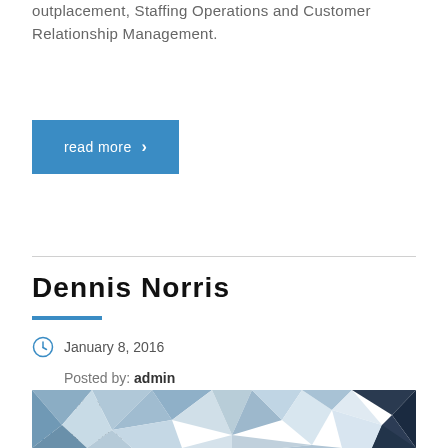outplacement, Staffing Operations and Customer Relationship Management.
read more ›
Dennis Norris
January 8, 2016
Posted by: admin
Category:
No Comments
[Figure (illustration): Abstract low-poly geometric pattern in blue, grey, and dark tones]